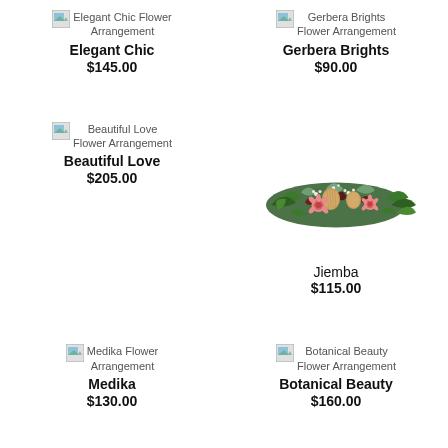[Figure (other): Broken image placeholder for Elegant Chic Flower Arrangement]
Elegant Chic
$145.00
[Figure (other): Broken image placeholder for Gerbera Brights Flower Arrangement]
Gerbera Brights
$90.00
[Figure (other): Broken image placeholder for Beautiful Love Flower Arrangement]
Beautiful Love
$205.00
[Figure (photo): Photo of Jiemba flower arrangement — a wide low arrangement with banksia, protea, dark foliage, pink blooms, and white filler flowers]
Jiemba
$115.00
[Figure (other): Broken image placeholder for Medika Flower Arrangement]
Medika
$130.00
[Figure (other): Broken image placeholder for Botanical Beauty Flower Arrangement]
Botanical Beauty
$160.00